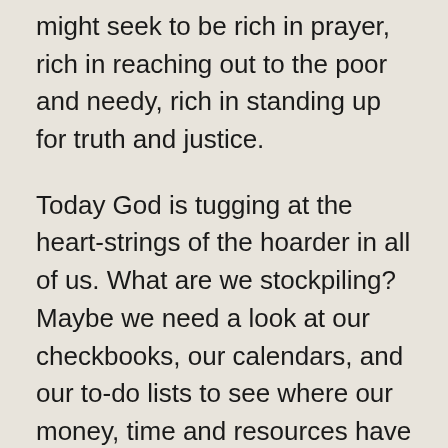might seek to be rich in prayer, rich in reaching out to the poor and needy, rich in standing up for truth and justice.
Today God is tugging at the heart-strings of the hoarder in all of us. What are we stockpiling? Maybe we need a look at our checkbooks, our calendars, and our to-do lists to see where our money, time and resources have gone. Can we take any of that with us if we are called home to God tonight? If those things are all we have, we could find ourselves in real poverty when we arrive at the pearly gates. This week's to-do list might find us letting go of some of what we